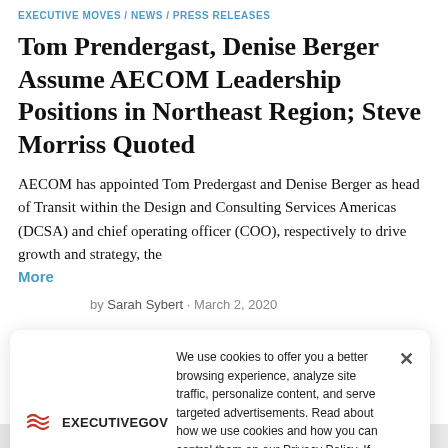EXECUTIVE MOVES / NEWS / PRESS RELEASES
Tom Prendergast, Denise Berger Assume AECOM Leadership Positions in Northeast Region; Steve Morriss Quoted
AECOM has appointed Tom Predergast and Denise Berger as head of Transit within the Design and Consulting Services Americas (DCSA) and chief operating officer (COO), respectively to drive growth and strategy, the
More
by Sarah Sybert · March 2, 2020
We use cookies to offer you a better browsing experience, analyze site traffic, personalize content, and serve targeted advertisements. Read about how we use cookies and how you can control them on our Privacy Policy. If you continue to use this site, you consent to our use of cookies.